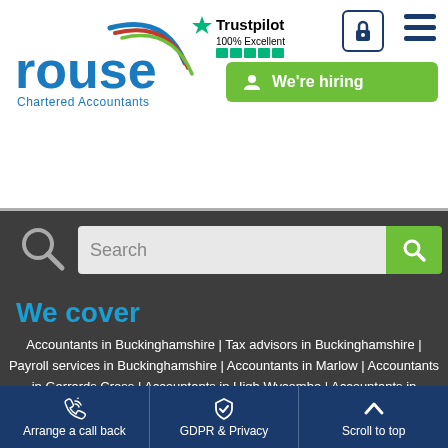[Figure (logo): Rouse Chartered Accountants logo with blue text and arc graphic]
[Figure (logo): Trustpilot 100% Excellent rating badge with green stars]
[Figure (screenshot): Lock icon button and hamburger menu icon]
We're hiring
Search
We cover
Accountants in Buckinghamshire | Tax advisors in Buckinghamshire | Payroll services in Buckinghamshire | Accountants in Marlow | Accountants in Gerrards Cross | Accountants in High Wycombe | Accountants in Amersham | Accountants in Uxbridge | Accountants in Slough | Accountants in Maidenhead | Accountants in Chesham | Accountants in Chalfont | QuickBooks Accountants | Xero Accountants | Sage Accountants | Charity Accountants | Construction Accountants | Hospitality Accountants | Manufacturing Accountants |
Arrange a call back | GDPR & Privacy | Scroll to top